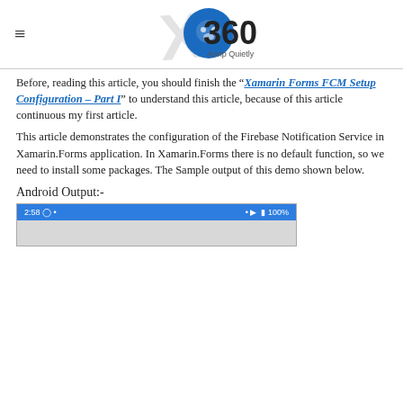≡   X360 Jump Quietly [logo]
Before, reading this article, you should finish the "Xamarin Forms FCM Setup Configuration – Part I" to understand this article, because of this article continuous my first article.
This article demonstrates the configuration of the Firebase Notification Service in Xamarin.Forms application. In Xamarin.Forms there is no default function, so we need to install some packages. The Sample output of this demo shown below.
Android Output:-
[Figure (screenshot): Android phone screenshot showing status bar with time 2:58, signal icons, and 100% battery on a blue background, with a light gray app area below.]